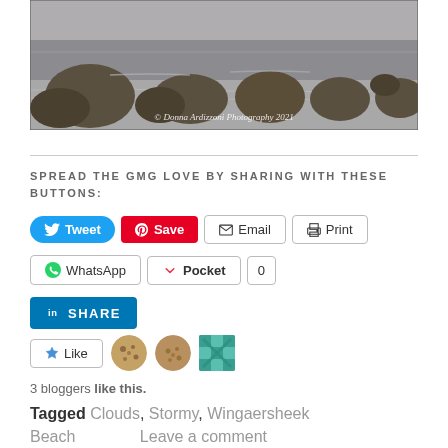[Figure (photo): Grayscale beach photo showing large rocks on a sandy shore with overcast sky and ocean in background. Watermark reads: © Donna Ardizzoni Photography 2021]
SPREAD THE GMG LOVE BY SHARING WITH THESE BUTTONS:
[Figure (infographic): Social sharing buttons: Tweet (blue), Save (red Pinterest), Email (outline), Print (outline), WhatsApp (outline), Pocket (outline with heart icon), 0 (count), LinkedIn SHARE (blue)]
[Figure (infographic): Like button with star icon followed by three blogger avatar thumbnails]
3 bloggers like this.
Tagged Clouds, Stormy, Wingaersheek Beach     Leave a comment